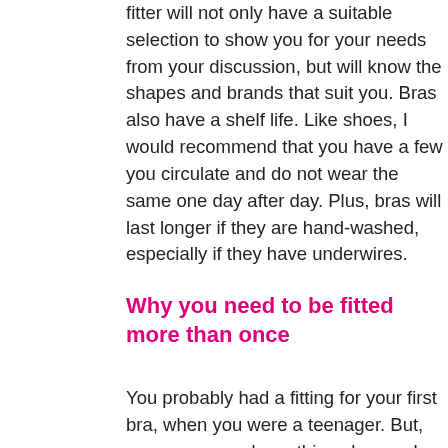fitter will not only have a suitable selection to show you for your needs from your discussion, but will know the shapes and brands that suit you. Bras also have a shelf life. Like shoes, I would recommend that you have a few you circulate and do not wear the same one day after day. Plus, bras will last longer if they are hand-washed, especially if they have underwires.
Why you need to be fitted more than once
You probably had a fitting for your first bra, when you were a teenager. But, as we grow and age things happen! You might have